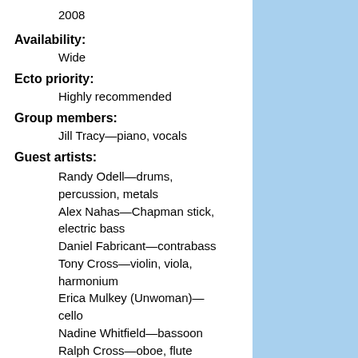2008
Availability:
Wide
Ecto priority:
Highly recommended
Group members:
Jill Tracy—piano, vocals
Guest artists:
Randy Odell—drums, percussion, metals
Alex Nahas—Chapman stick, electric bass
Daniel Fabricant—contrabass
Tony Cross—violin, viola, harmonium
Erica Mulkey (Unwoman)—cello
Nadine Whitfield—bassoon
Ralph Cross—oboe, flute